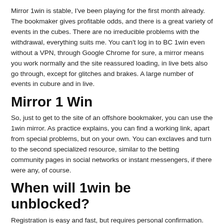Mirror 1win is stable, I've been playing for the first month already. The bookmaker gives profitable odds, and there is a great variety of events in the cubes. There are no irreducible problems with the withdrawal, everything suits me. You can't log in to BC 1win even without a VPN, through Google Chrome for sure, a mirror means you work normally and the site reassured loading, in live bets also go through, except for glitches and brakes. A large number of events in cubure and in live.
Mirror 1 Win
So, just to get to the site of an offshore bookmaker, you can use the 1win mirror. As practice explains, you can find a working link, apart from special problems, but on your own. You can exclaves and turn to the second specialized resource, similar to the betting community pages in social networks or instant messengers, if there were any, of course.
When will 1win be unblocked?
Registration is easy and fast, but requires personal confirmation. BC 1VIN has a mobile version of the site (for IOS and Android), which allowed bets to be placed in that convenient place. The line and painting is not inferior to the leading bookmakers. Since BC 1WIN does not have a license to operate in the territory of the Russian Federation, regulatory authorities sometimes block the official domain of the site.
How to Destablishment of the A...